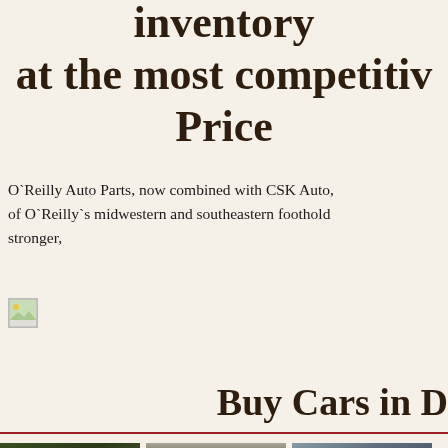combination of inventory at the most competitive Price
O`Reilly Auto Parts, now combined with CSK Auto, of O`Reilly`s midwestern and southeastern foothold stronger,
[Figure (photo): Broken/missing image placeholder (small icon)]
Buy Cars in D
[Figure (photo): Three car photos shown at bottom of page: a dark green/black car viewed from side on road, a dark grey sports car viewed from front, and a dark grey/blue truck viewed from front side angle]